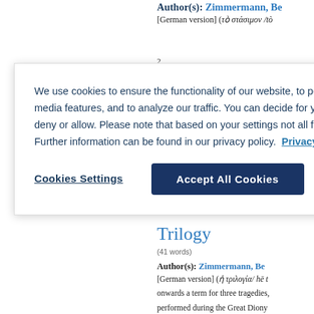Author(s): Zimmermann, Be...
[German version] (τὸ στάσιμον /tò...
We use cookies to ensure the functionality of our website, to personalize content, to provide social media features, and to analyze our traffic. You can decide for yourself which categories you want to deny or allow. Please note that based on your settings not all functionalities of the site are available. Further information can be found in our privacy policy. Privacy Statement
Cookies Settings
Accept All Cookies
Trilogy
(41 words)
Author(s): Zimmermann, Be...
[German version] (ἡ τριλογία/ hē t...
onwards a term for three tragedies,
performed during the Great Diony...
1124) [1. 80]. Tetralogy; Tragedy I. Zi...